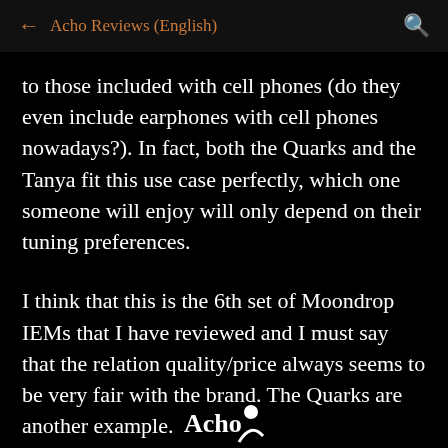← Acho Reviews (English)
to those included with cell phones (do they even include earphones with cell phones nowadays?). In fact, both the Quarks and the Tanya fit this use case perfectly, which one someone will enjoy will only depend on their tuning preferences.
I think that this is the 6th set of Moondrop IEMs that I have reviewed and I must say that the relation quality/price always seems to be very fair with the brand. The Quarks are another example.
Acho logo